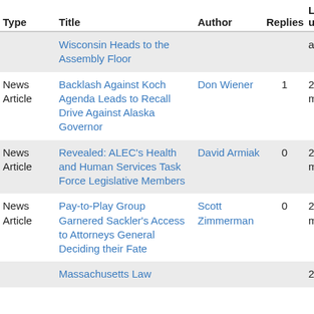| Type | Title | Author | Replies | Last updated |
| --- | --- | --- | --- | --- |
|  | Wisconsin Heads to the Assembly Floor |  |  | ago |
| News Article | Backlash Against Koch Agenda Leads to Recall Drive Against Alaska Governor | Don Wiener | 1 | 2 years 6 months ago |
| News Article | Revealed: ALEC's Health and Human Services Task Force Legislative Members | David Armiak | 0 | 2 years 6 months ago |
| News Article | Pay-to-Play Group Garnered Sackler's Access to Attorneys General Deciding their Fate | Scott Zimmerman | 0 | 2 years 6 months ago |
|  | Massachusetts Law |  |  | 2 years |